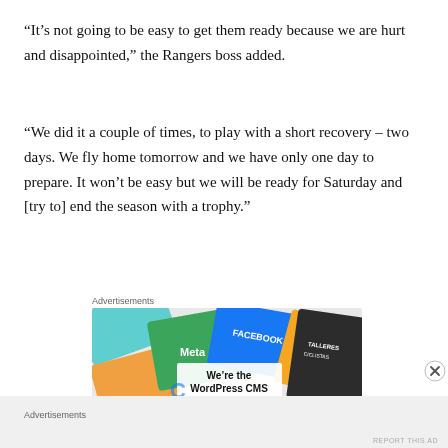“It’s not going to be easy to get them ready because we are hurt and disappointed,” the Rangers boss added.
“We did it a couple of times, to play with a short recovery – two days. We fly home tomorrow and we have only one day to prepare. It won’t be easy but we will be ready for Saturday and [try to] end the season with a trophy.”
Advertisements
[Figure (screenshot): Advertisement banner showing Meta/Facebook and WordPress CMS imagery with colorful cards and text 'We're the WordPress CMS']
Advertisements